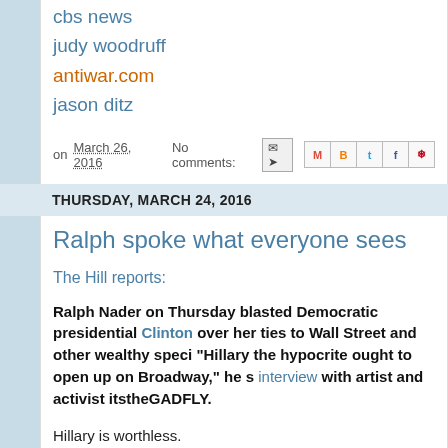cbs news
judy woodruff
antiwar.com
jason ditz
on March 26, 2016   No comments:
THURSDAY, MARCH 24, 2016
Ralph spoke what everyone sees
The Hill reports:
Ralph Nader on Thursday blasted Democratic presidential Clinton over her ties to Wall Street and other wealthy spec... "Hillary the hypocrite ought to open up on Broadway," he s... interview with artist and activist itstheGADFLY.
Hillary is worthless.